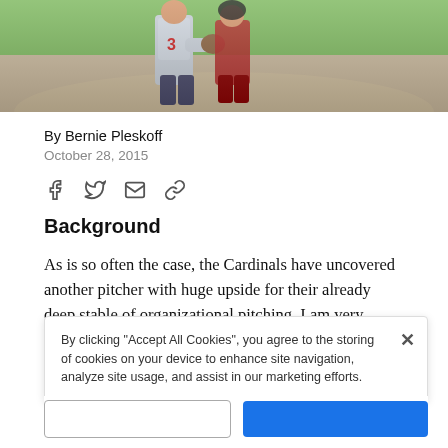[Figure (photo): Baseball players in Cardinals uniforms on a field, one wearing jersey number 3]
By Bernie Pleskoff
October 28, 2015
[Figure (infographic): Social sharing icons: Facebook, Twitter, email, link]
Background
As is so often the case, the Cardinals have uncovered another pitcher with huge upside for their already deep stable of organizational pitching. I am very impressed with right-handed pitcher Luke Weaver.
Weaver attended DeLand (Fla.) High School and earned a
By clicking “Accept All Cookies”, you agree to the storing of cookies on your device to enhance site navigation, analyze site usage, and assist in our marketing efforts.